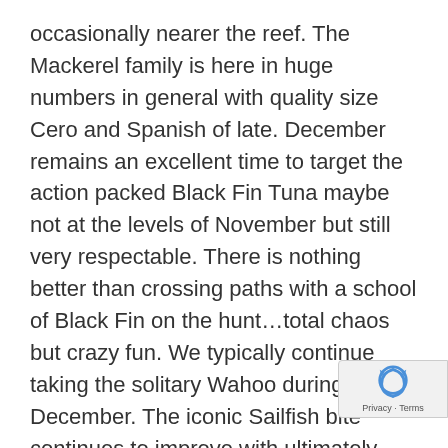occasionally nearer the reef. The Mackerel family is here in huge numbers in general with quality size Cero and Spanish of late. December remains an excellent time to target the action packed Black Fin Tuna maybe not at the levels of November but still very respectable. There is nothing better than crossing paths with a school of Black Fin on the hunt…total chaos but crazy fun. We typically continue taking the solitary Wahoo during December. The iconic Sailfish bite continues to improve with ultimately January being the real kick off for our most productive time frame which continues for months into the spring. Unfortunately we say good-by for the most part to the wonderful Mahi (Dolphin fish) as the cooler water temperatures force a migration for most of them...